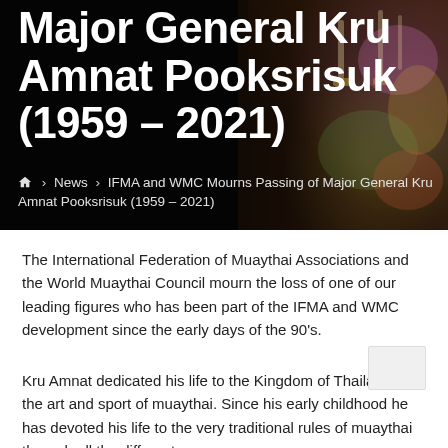Major General Kru Amnat Pooksrisuk (1959 – 2021)
🏠 › News › IFMA and WMC Mourns Passing of Major General Kru Amnat Pooksrisuk (1959 – 2021)
The International Federation of Muaythai Associations and the World Muaythai Council mourn the loss of one of our leading figures who has been part of the IFMA and WMC development since the early days of the 90's.
Kru Amnat dedicated his life to the Kingdom of Thailand and the art and sport of muaythai. Since his early childhood he has devoted his life to the very traditional rules of muaythai through all the different